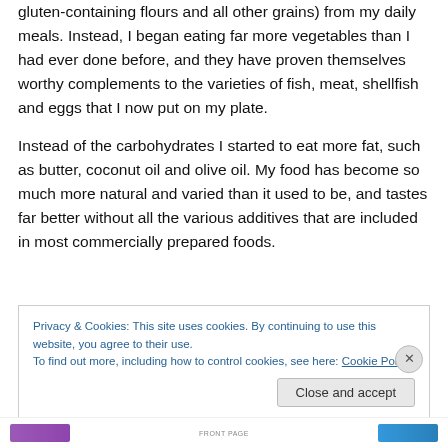gluten-containing flours and all other grains) from my daily meals. Instead, I began eating far more vegetables than I had ever done before, and they have proven themselves worthy complements to the varieties of fish, meat, shellfish and eggs that I now put on my plate.
Instead of the carbohydrates I started to eat more fat, such as butter, coconut oil and olive oil. My food has become so much more natural and varied than it used to be, and tastes far better without all the various additives that are included in most commercially prepared foods.
Privacy & Cookies: This site uses cookies. By continuing to use this website, you agree to their use.
To find out more, including how to control cookies, see here: Cookie Policy
Close and accept